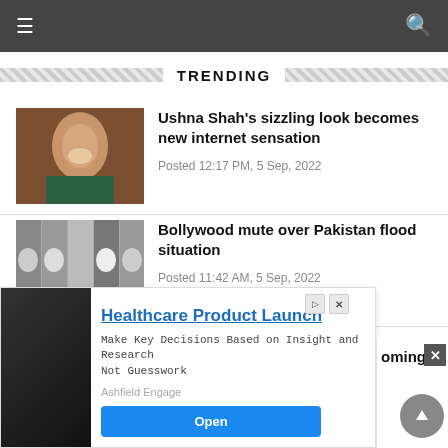Navigation bar with hamburger menu and search icon
TRENDING
Ushna Shah's sizzling look becomes new internet sensation
Posted 12:17 PM, 5 Sep, 2022
Bollywood mute over Pakistan flood situation
Posted 11:42 AM, 5 Sep, 2022
[Figure (photo): Partial thumbnail of a third article, partially obscured by ad]
Healthcare Product Launch
Make Key Decisions Based on Insight and Research Not Guesswork
Ashfield Engage
Open
oming